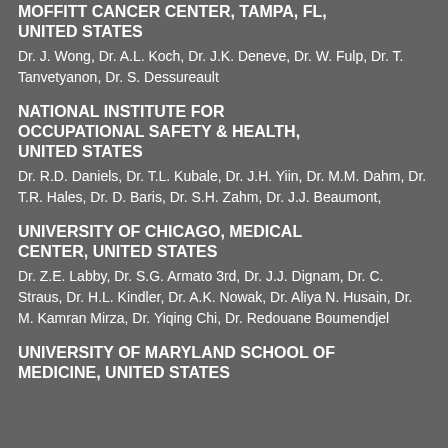MOFFITT CANCER CENTER, TAMPA, FL, UNITED STATES
Dr. J. Wong, Dr. A.L. Koch, Dr. J.K. Deneve, Dr. W. Fulp, Dr. T. Tanvetyanon, Dr. S. Dessureault
NATIONAL INSTITUTE FOR OCCUPATIONAL SAFETY & HEALTH, UNITED STATES
Dr. R.D. Daniels, Dr. T.L. Kubale, Dr. J.H. Yiin, Dr. M.M. Dahm, Dr. T.R. Hales, Dr. D. Baris, Dr. S.H. Zahm, Dr. J.J. Beaumont,
UNIVERSITY OF CHICAGO, MEDICAL CENTER, UNITED STATES
Dr. Z.E. Labby, Dr. S.G. Armato 3rd, Dr. J.J. Dignam, Dr. C. Straus, Dr. H.L. Kindler, Dr. A.K. Nowak, Dr. Aliya N. Husain, Dr. M. Kamran Mirza, Dr. Yiqing Chi, Dr. Redouane Boumendjel
UNIVERSITY OF MARYLAND SCHOOL OF MEDICINE, UNITED STATES